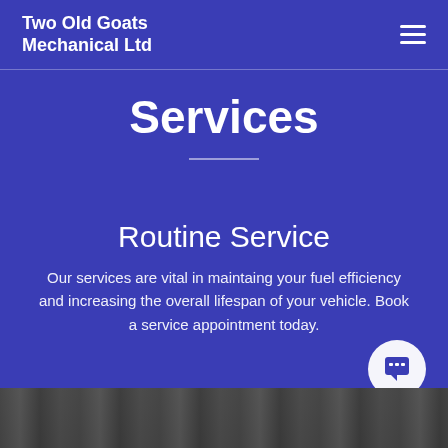Two Old Goats Mechanical Ltd
Services
Routine Service
Our services are vital in maintaing your fuel efficiency and increasing the overall lifespan of your vehicle. Book a service appointment today.
[Figure (photo): Bottom strip showing a black and white city street scene]